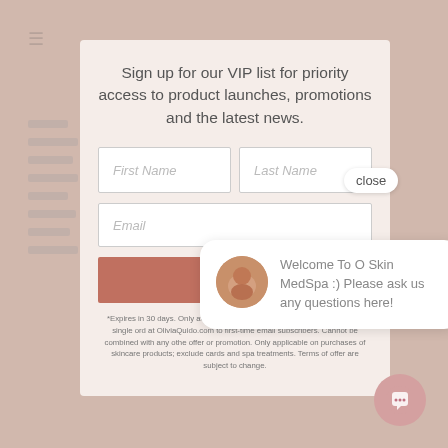Sign up for our VIP list for priority access to product launches, promotions and the latest news.
[Figure (screenshot): Modal signup form with First Name, Last Name, Email fields and a submit button, overlaid on a website background. A close button is visible. A chat bubble from O Skin MedSpa is shown bottom right of the modal.]
*Expires in 30 days. Only available to USA residents for one-time use on a single order at OliviaQuido.com to first-time email subscribers. Cannot be combined with any other offer or promotion. Only applicable on purchases of skincare products; excludes cards and spa treatments. Terms of offer are subject to change.